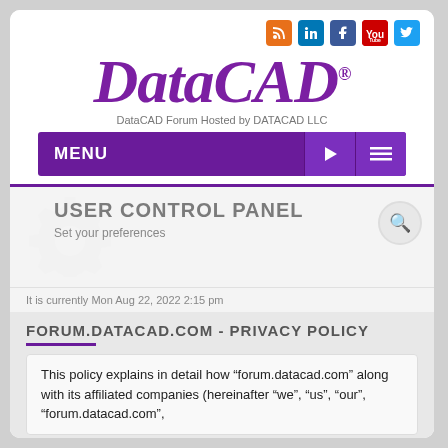[Figure (logo): DataCAD logo with social media icons (RSS, LinkedIn, Facebook, YouTube, Twitter) and subtitle 'DataCAD Forum Hosted by DATACAD LLC']
MENU
USER CONTROL PANEL
Set your preferences
It is currently Mon Aug 22, 2022 2:15 pm
FORUM.DATACAD.COM - PRIVACY POLICY
This policy explains in detail how “forum.datacad.com” along with its affiliated companies (hereinafter “we”, “us”, “our”, “forum.datacad.com”,